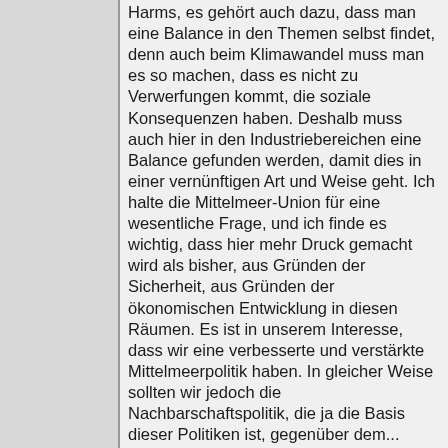Harms, es gehört auch dazu, dass man eine Balance in den Themen selbst findet, denn auch beim Klimawandel muss man es so machen, dass es nicht zu Verwerfungen kommt, die soziale Konsequenzen haben. Deshalb muss auch hier in den Industriebereichen eine Balance gefunden werden, damit dies in einer vernünftigen Art und Weise geht. Ich halte die Mittelmeer-Union für eine wesentliche Frage, und ich finde es wichtig, dass hier mehr Druck gemacht wird als bisher, aus Gründen der Sicherheit, aus Gründen der ökonomischen Entwicklung in diesen Räumen. Es ist in unserem Interesse, dass wir eine verbesserte und verstärkte Mittelmeerpolitik haben. In gleicher Weise sollten wir jedoch die Nachbarschaftspolitik, die ja die Basis dieser Politiken ist, gegenüber dem...